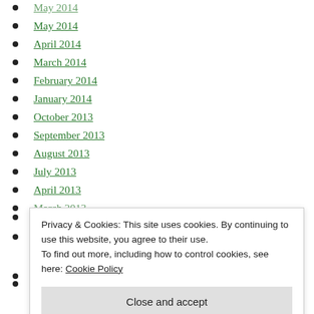May 2014
April 2014
March 2014
February 2014
January 2014
October 2013
September 2013
August 2013
July 2013
April 2013
March 2013 (partial)
December 2011 (partial)
Privacy & Cookies: This site uses cookies. By continuing to use this website, you agree to their use. To find out more, including how to control cookies, see here: Cookie Policy
Close and accept